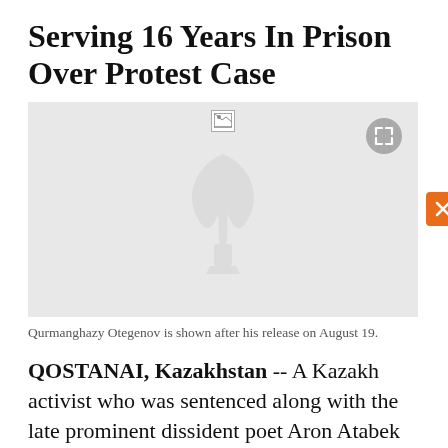Serving 16 Years In Prison Over Protest Case
[Figure (photo): Photo placeholder with RFE/RL watermark logo (torch and flame), a broken image icon at top center, and an expand button in the top right corner. Background is light gray.]
Qurmanghazy Otegenov is shown after his release on August 19.
QOSTANAI, Kazakhstan -- A Kazakh activist who was sentenced along with the late prominent dissident poet Aron Atabek for helping organize